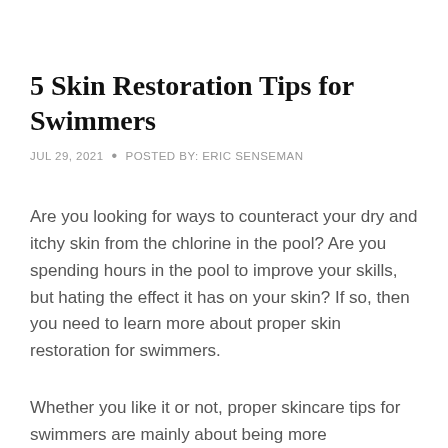5 Skin Restoration Tips for Swimmers
JUL 29, 2021 • POSTED BY: ERIC SENSEMAN
Are you looking for ways to counteract your dry and itchy skin from the chlorine in the pool? Are you spending hours in the pool to improve your skills, but hating the effect it has on your skin? If so, then you need to learn more about proper skin restoration for swimmers.
Whether you like it or not, proper skincare tips for swimmers are mainly about being more